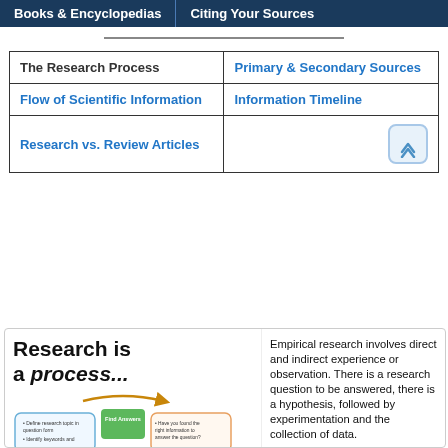Books & Encyclopedias | Citing Your Sources
The Research Process
Primary & Secondary Sources
Flow of Scientific Information
Information Timeline
Research vs. Review Articles
Research is a process...
[Figure (infographic): Circular research process diagram showing steps: Define research topic in question form, identify keywords, Find Answers (green box), Have you found the right information to answer the question?]
Empirical research involves direct and indirect experience or observation. There is a research question to be answered, there is a hypothesis, followed by experimentation and the collection of data.